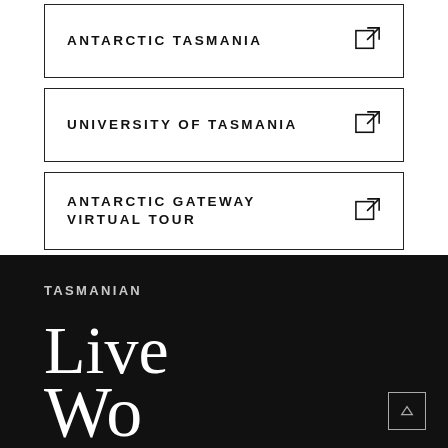ANTARCTIC TASMANIA ↗
UNIVERSITY OF TASMANIA ↗
ANTARCTIC GATEWAY VIRTUAL TOUR ↗
TASMANIAN
Live
Wo...